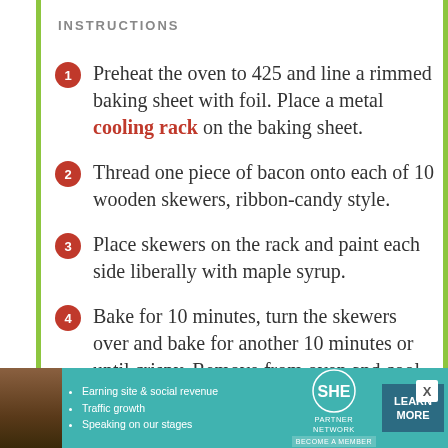INSTRUCTIONS
Preheat the oven to 425 and line a rimmed baking sheet with foil. Place a metal cooling rack on the baking sheet.
Thread one piece of bacon onto each of 10 wooden skewers, ribbon-candy style.
Place skewers on the rack and paint each side liberally with maple syrup.
Bake for 10 minutes, turn the skewers over and bake for another 10 minutes or until crispy. Remove from oven and cool to room temperature.
[Figure (illustration): Advertisement banner for SHE Partner Network with a person photo, bullet points about earning site and social revenue, traffic growth, speaking on our stages, SHE logo, Partner Network text, Become a Member text, and Learn More button.]